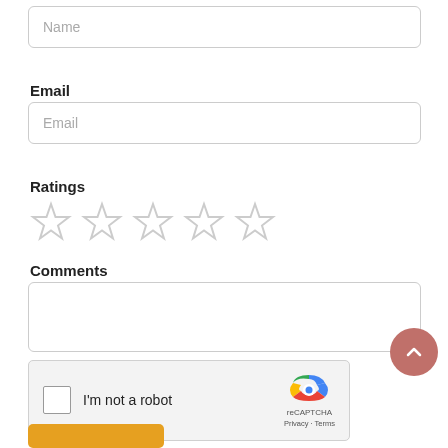Name
[Figure (screenshot): Name input field placeholder]
Email
[Figure (screenshot): Email input field placeholder]
Ratings
[Figure (other): Five empty star rating icons]
Comments
[Figure (screenshot): Comments text area box]
[Figure (other): reCAPTCHA widget with I'm not a robot checkbox]
[Figure (other): Orange submit button at bottom]
[Figure (other): Scroll up circular button with chevron icon]